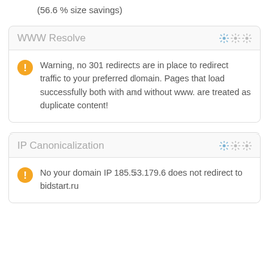(56.6 % size savings)
WWW Resolve
Warning, no 301 redirects are in place to redirect traffic to your preferred domain. Pages that load successfully both with and without www. are treated as duplicate content!
IP Canonicalization
No your domain IP 185.53.179.6 does not redirect to bidstart.ru